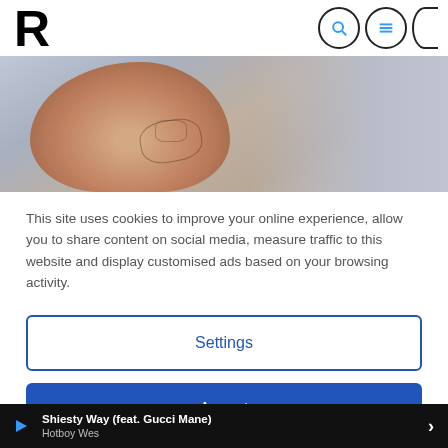R [logo] with search and menu icons
[Figure (photo): Close-up photo of a man's shaved head with tattoos, viewed from behind/side, against a grey-blue background]
This site uses cookies to improve your online experience, allow you to share content on social media, measure traffic to this website and display customised ads based on your browsing activity.
Settings
Accept
[Figure (photo): Bottom strip showing a person with tattoos and beaded necklace, with date MAY 27, 2022, view count 85, and heart icon overlay]
Shiesty Way (feat. Gucci Mane) Hotboy Wes — music player bar